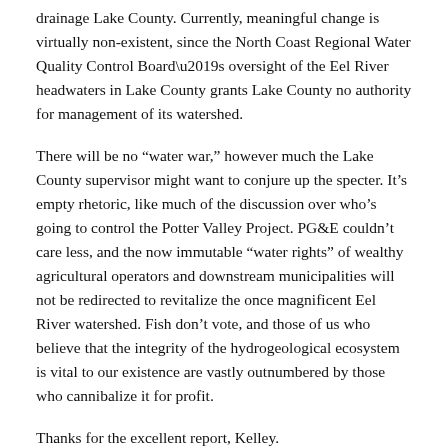drainage Lake County. Currently, meaningful change is virtually non-existent, since the North Coast Regional Water Quality Control Board's oversight of the Eel River headwaters in Lake County grants Lake County no authority for management of its watershed.
There will be no “water war,” however much the Lake County supervisor might want to conjure up the specter. It’s empty rhetoric, like much of the discussion over who’s going to control the Potter Valley Project. PG&E couldn’t care less, and the now immutable “water rights” of wealthy agricultural operators and downstream municipalities will not be redirected to revitalize the once magnificent Eel River watershed. Fish don’t vote, and those of us who believe that the integrity of the hydrogeological ecosystem is vital to our existence are vastly outnumbered by those who cannibalize it for profit.
Thanks for the excellent report, Kelley.
Reply